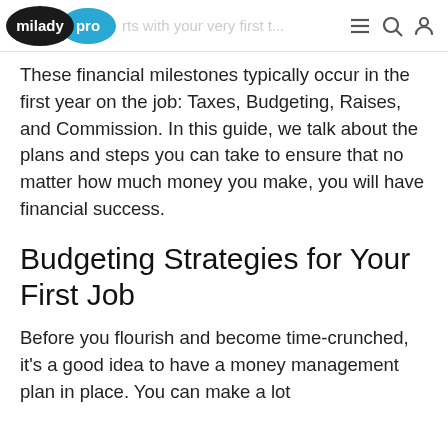milady pro — rts with your very first ...
These financial milestones typically occur in the first year on the job: Taxes, Budgeting, Raises, and Commission. In this guide, we talk about the plans and steps you can take to ensure that no matter how much money you make, you will have financial success.
Budgeting Strategies for Your First Job
Before you flourish and become time-crunched, it's a good idea to have a money management plan in place. You can make a lot